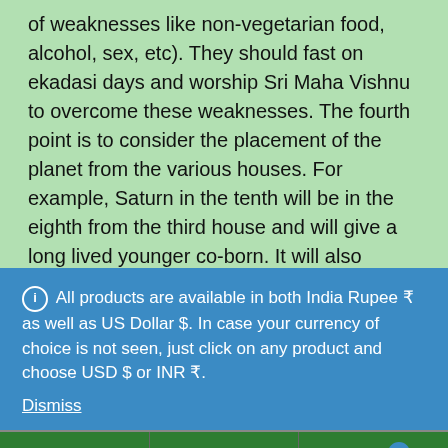of weaknesses like non-vegetarian food, alcohol, sex, etc). They should fast on ekadasi days and worship Sri Maha Vishnu to overcome these weaknesses. The fourth point is to consider the placement of the planet from the various houses. For example, Saturn in the tenth will be in the eighth from the third house and will give a long lived younger co-born. It will also aspect the seventh house to promise a long life to spouse. There is a saying Brahma (Saturn) gives life, Vishnu (Mercury) gives wealth and all
All products are available in both India Rupee ₹ as well as US Dollar $. In case your currency of choice is not seen, just click on any product and choose USD $ or INR ₹.
Dismiss